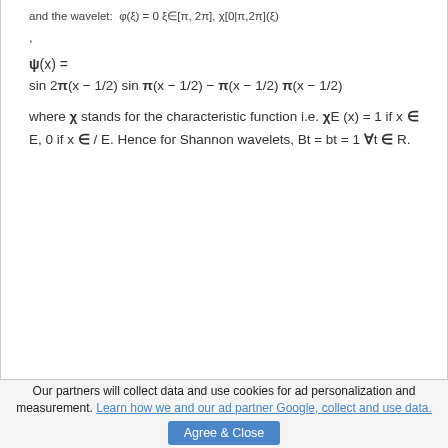and the wavelet: φ(ξ) = 0 ξ∈[π, 2π], χ[0|π,2π](ξ)
,
where χ stands for the characteristic function i.e. χE (x) = 1 if x ∈ E, 0 if x ∈ / E. Hence for Shannon wavelets, Bt = bt = 1 ∀t ∈ R.
Our partners will collect data and use cookies for ad personalization and measurement. Learn how we and our ad partner Google, collect and use data.